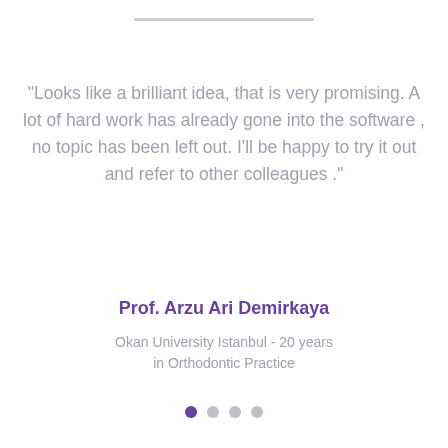"Looks like a brilliant idea, that is very promising. A lot of hard work has already gone into the software , no topic has been left out. I'll be happy to try it out and refer to other colleagues ."
Prof. Arzu Ari Demirkaya
Okan University Istanbul - 20 years in Orthodontic Practice